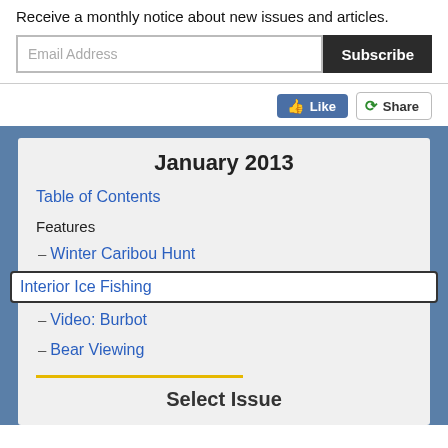Receive a monthly notice about new issues and articles.
Email Address  Subscribe
[Figure (infographic): Facebook Like button and Share button in social row]
January 2013
Table of Contents
Features
Winter Caribou Hunt
Interior Ice Fishing
Video: Burbot
Bear Viewing
Select Issue